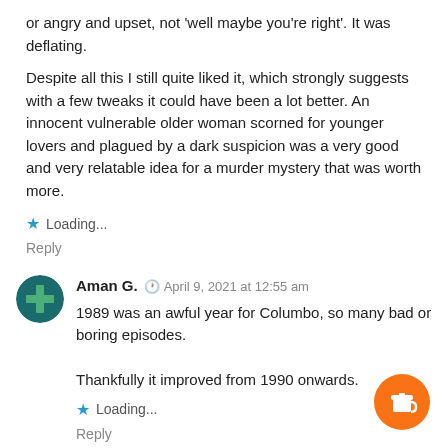or angry and upset, not 'well maybe you're right'. It was deflating.
Despite all this I still quite liked it, which strongly suggests with a few tweaks it could have been a lot better. An innocent vulnerable older woman scorned for younger lovers and plagued by a dark suspicion was a very good and very relatable idea for a murder mystery that was worth more.
★ Loading...
Reply
Aman G. · April 9, 2021 at 12:55 am
1989 was an awful year for Columbo, so many bad or boring episodes.

Thankfully it improved from 1990 onwards.
★ Loading...
Reply
[Figure (illustration): Aman G. avatar: dark teal circle with a green cross/plus shape in the center]
Mr steve · November 30, 2021 at 10:36 am
I agree 1989 episodes were dull , Murder smoke and
[Figure (illustration): Mr steve avatar: dark green circle with a person/figure icon]
[Figure (illustration): Orange circular FAB button with a coffee cup icon]